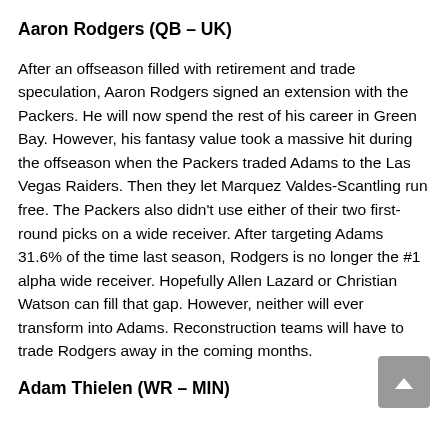Aaron Rodgers (QB – UK)
After an offseason filled with retirement and trade speculation, Aaron Rodgers signed an extension with the Packers. He will now spend the rest of his career in Green Bay. However, his fantasy value took a massive hit during the offseason when the Packers traded Adams to the Las Vegas Raiders. Then they let Marquez Valdes-Scantling run free. The Packers also didn't use either of their two first-round picks on a wide receiver. After targeting Adams 31.6% of the time last season, Rodgers is no longer the #1 alpha wide receiver. Hopefully Allen Lazard or Christian Watson can fill that gap. However, neither will ever transform into Adams. Reconstruction teams will have to trade Rodgers away in the coming months.
Adam Thielen (WR – MIN)